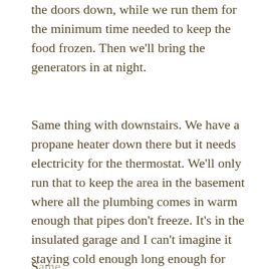the doors down, while we run them for the minimum time needed to keep the food frozen. Then we'll bring the generators in at night.
Same thing with downstairs. We have a propane heater down there but it needs electricity for the thermostat. We'll only run that to keep the area in the basement where all the plumbing comes in warm enough that pipes don't freeze. It's in the insulated garage and I can't imagine it staying cold enough long enough for inside that room to get below 32 degrees.
Same...